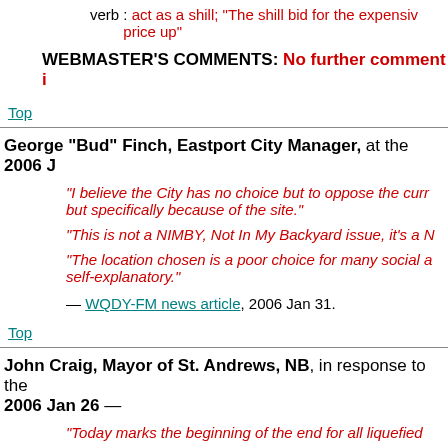verb : act as a shill; "The shill bid for the expensive painting to drive up the price up"
WEBMASTER'S COMMENTS: No further comment i
Top
George "Bud" Finch, Eastport City Manager, at the 2006 J
"I believe the City has no choice but to oppose the curr but specifically because of the site."
"This is not a NIMBY, Not In My Backyard issue, it's a N
"The location chosen is a poor choice for many social a self-explanatory."
— WQDY-FM news article, 2006 Jan 31.
Top
John Craig, Mayor of St. Andrews, NB, in response to the 2006 Jan 26 —
"Today marks the beginning of the end for all liquefied